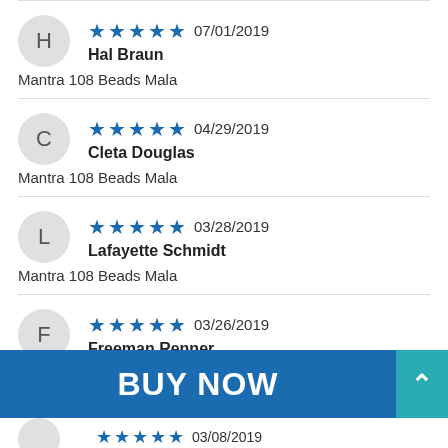H - Hal Braun - 07/01/2019 - 5 stars - Mantra 108 Beads Mala
C - Cleta Douglas - 04/29/2019 - 5 stars - Mantra 108 Beads Mala
L - Lafayette Schmidt - 03/28/2019 - 5 stars - Mantra 108 Beads Mala
F - Freeman Renner - 03/26/2019 - 5 stars
BUY NOW
03/08/2019 - 5 stars (partial)